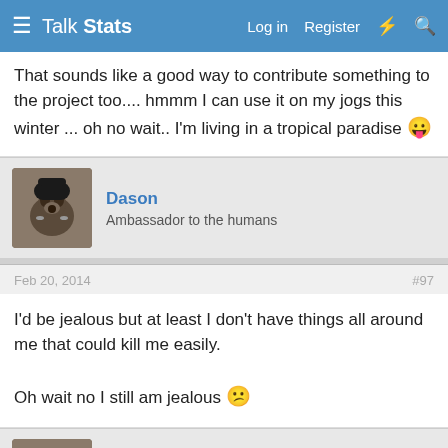Talk Stats | Log in | Register
That sounds like a good way to contribute something to the project too.... hmmm I can use it on my jogs this winter ... oh no wait.. I'm living in a tropical paradise 😛
Dason
Ambassador to the humans
Feb 20, 2014 #97
I'd be jealous but at least I don't have things all around me that could kill me easily.

Oh wait no I still am jealous 😕
Dason
Ambassador to the humans
Apr 19, 2014 #98